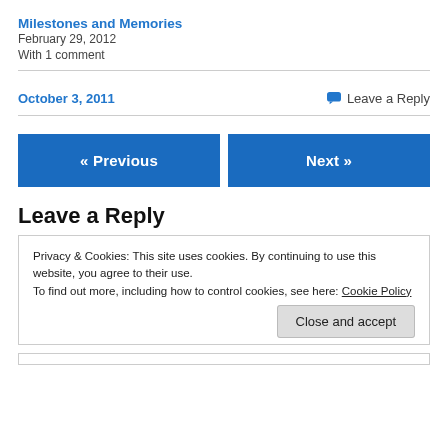Milestones and Memories
February 29, 2012
With 1 comment
October 3, 2011
Leave a Reply
« Previous
Next »
Leave a Reply
Privacy & Cookies: This site uses cookies. By continuing to use this website, you agree to their use.
To find out more, including how to control cookies, see here: Cookie Policy
Close and accept